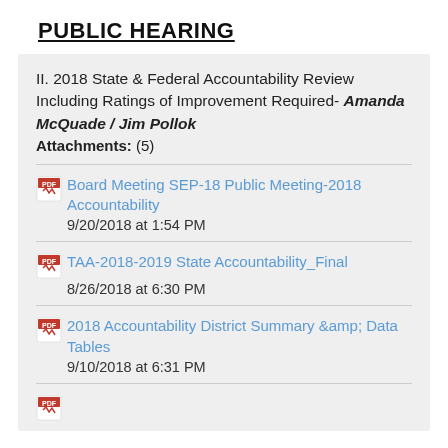PUBLIC HEARING
II. 2018 State & Federal Accountability Review Including Ratings of Improvement Required- Amanda McQuade / Jim Pollok
Attachments: (5)
Board Meeting SEP-18 Public Meeting-2018 Accountability
9/20/2018 at 1:54 PM
TAA-2018-2019 State Accountability_Final
8/26/2018 at 6:30 PM
2018 Accountability District Summary &amp; Data Tables
9/10/2018 at 6:31 PM